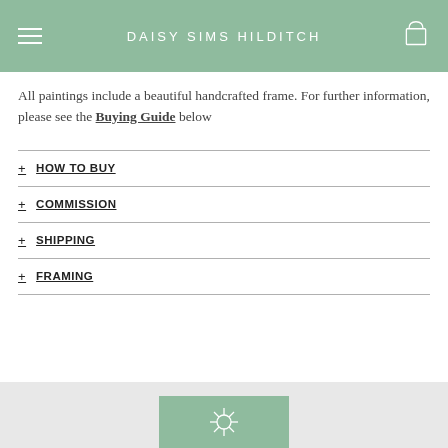DAISY SIMS HILDITCH
All paintings include a beautiful handcrafted frame. For further information, please see the Buying Guide below
+ HOW TO BUY
+ COMMISSION
+ SHIPPING
+ FRAMING
[Figure (logo): Daisy Sims Hilditch logo on green background in footer]